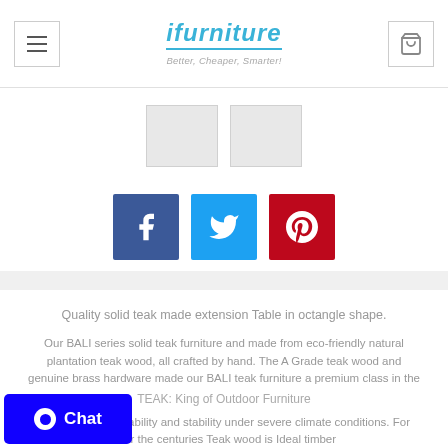ifurniture — Better, Cheaper, Smarter!
[Figure (screenshot): Two product thumbnail images of a teak furniture item]
[Figure (infographic): Social share buttons: Facebook (blue), Twitter (light blue), Pinterest (dark red)]
Quality solid teak made extension Table in octangle shape.
Our BALI series solid teak furniture and made from eco-friendly natural plantation teak wood, all crafted by hand. The A Grade teak wood and genuine brass hardware made our BALI teak furniture a premium class in the industry.
TEAK: King of Outdoor Furniture
...nized for its durability and stability under severe climate conditions. For over the centuries Teak wood is Ideal timber